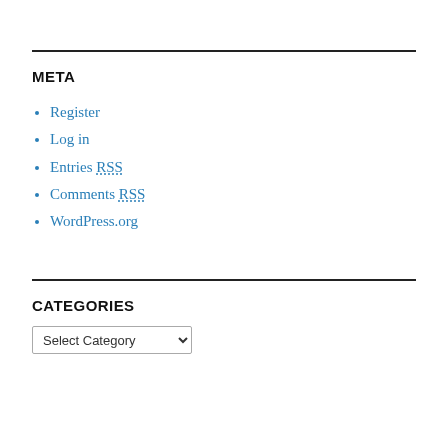META
Register
Log in
Entries RSS
Comments RSS
WordPress.org
CATEGORIES
Select Category